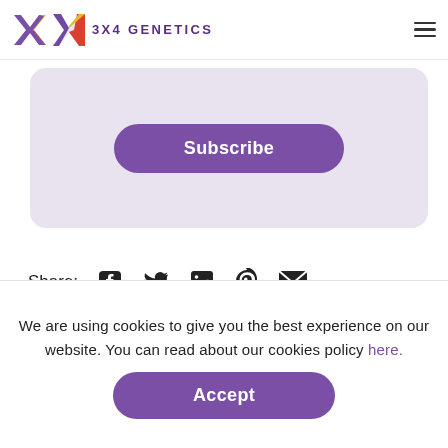3X4 GENETICS
[Figure (other): Subscribe button inside a light purple rounded card]
Share:
[Figure (other): Social share icons: Facebook, Twitter, LinkedIn, Pinterest, Email]
We are using cookies to give you the best experience on our website. You can read about our cookies policy here.
[Figure (other): Accept button for cookie consent]